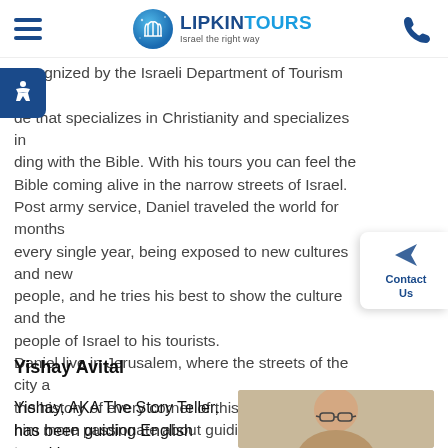LIPKIN TOURS - Israel the right way
recognized by the Israeli Department of Tourism as a guide that specializes in Christianity and specializes in guiding with the Bible. With his tours you can feel the Bible coming alive in the narrow streets of Israel. Post army service, Daniel traveled the world for months every single year, being exposed to new cultures and new people, and he tries his best to show the culture and the people of Israel to his tourists. Daniel live in Jerusalem, where the streets of the city and the history of every corner of this country makes him more passionate about guiding. He also loves to meet, engage and host other people; therefore, he loves his job as a tour guide.
Yishay Avital
Yishay, AKA The Story Teller, has been guiding English speaking